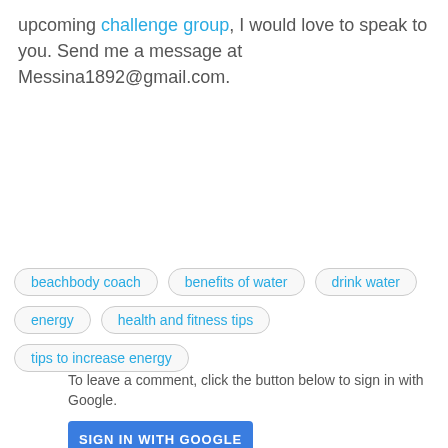upcoming challenge group, I would love to speak to you. Send me a message at Messina1892@gmail.com.
beachbody coach
benefits of water
drink water
energy
health and fitness tips
tips to increase energy
To leave a comment, click the button below to sign in with Google.